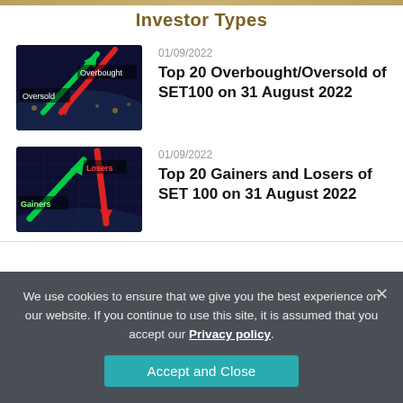Investor Types
01/09/2022
[Figure (photo): Stock chart thumbnail showing overbought/oversold arrows with red and green directional arrows on dark background]
Top 20 Overbought/Oversold of SET100 on 31 August 2022
01/09/2022
[Figure (photo): Stock chart thumbnail showing gainers and losers with green and red directional arrows labeled 'Gainers' and 'Losers' on dark background]
Top 20 Gainers and Losers of SET 100 on 31 August 2022
We use cookies to ensure that we give you the best experience on our website. If you continue to use this site, it is assumed that you accept our Privacy policy.
Accept and Close